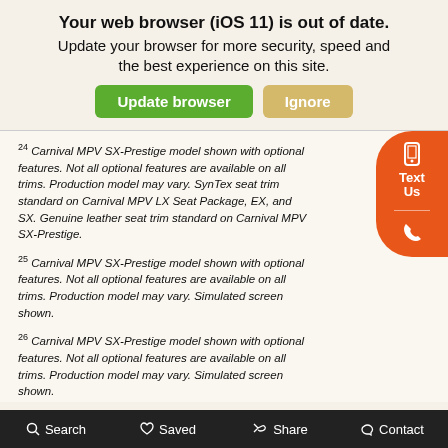Your web browser (iOS 11) is out of date. Update your browser for more security, speed and the best experience on this site.
[Figure (screenshot): Browser update notification banner with green 'Update browser' button and tan 'Ignore' button]
24 Carnival MPV SX-Prestige model shown with optional features. Not all optional features are available on all trims. Production model may vary. SynTex seat trim standard on Carnival MPV LX Seat Package, EX, and SX. Genuine leather seat trim standard on Carnival MPV SX-Prestige.
25 Carnival MPV SX-Prestige model shown with optional features. Not all optional features are available on all trims. Production model may vary. Simulated screen shown.
26 Carnival MPV SX-Prestige model shown with optional features. Not all optional features are available on all trims. Production model may vary. Simulated screen shown.
27 Carnival MPV SX-Prestige model shown with optional features. Not all optional features are available
Search  Saved  Share  Contact